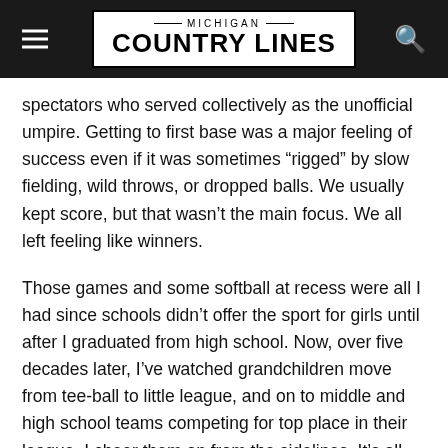MICHIGAN COUNTRY LINES
spectators who served collectively as the unofficial umpire. Getting to first base was a major feeling of success even if it was sometimes “rigged” by slow fielding, wild throws, or dropped balls. We usually kept score, but that wasn’t the main focus. We all left feeling like winners.
Those games and some softball at recess were all I had since schools didn’t offer the sport for girls until after I graduated from high school. Now, over five decades later, I’ve watched grandchildren move from tee-ball to little league, and on to middle and high school teams competing for top place in their league. I cheer them on from the sidelines. It’s all very structured and competitive. But I’m not convinced it’s as much fun as the informal, Monday night games in the farming community where I grew up.